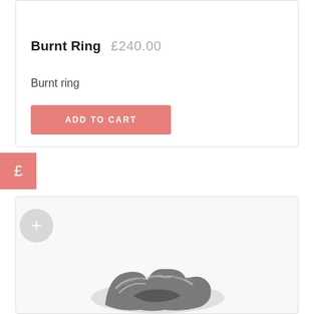Burnt Ring  £240.00
Burnt ring
ADD TO CART
£
[Figure (photo): Photograph of a textured metallic burnt ring, partially visible at the bottom of the page, with a dark grey/silver oxidized surface.]